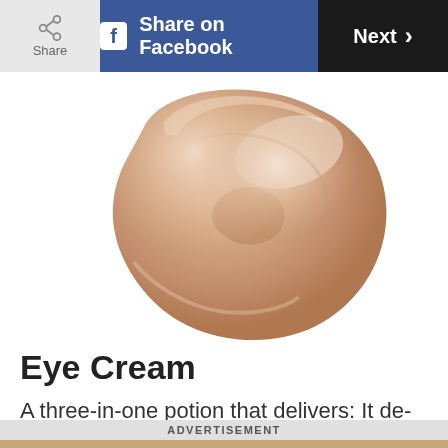Share | Share on Facebook | Next >
[Figure (photo): A swirl of peach/nude-toned eye cream product smeared on a white background]
Eye Cream
A three-in-one potion that delivers: It de-puffs, de-
ADVERTISEMENT
[Figure (photo): Advertisement banner for The Daily Jigsaw puzzle game with colorful jigsaw pieces]